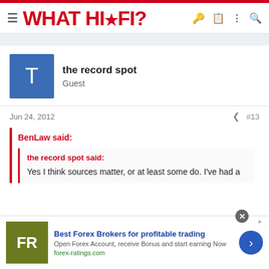WHAT HI·FI?
the record spot
Guest
Jun 24, 2012  #13
BenLaw said:
the record spot said:
Yes I think sources matter, or at least some do. I've had a
[Figure (other): Advertisement banner: Best Forex Brokers for profitable trading. Open Forex Account, receive Bonus and start earning Now. forex-ratings.com]